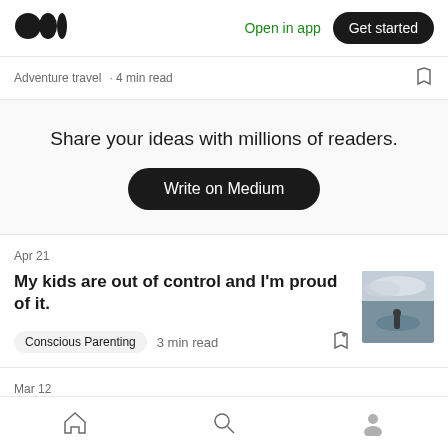Medium logo | Open in app | Get started
Adventure travel  4 min read
Share your ideas with millions of readers.
Write on Medium
Apr 21
My kids are out of control and I'm proud of it.
Conscious Parenting  3 min read
Mar 12